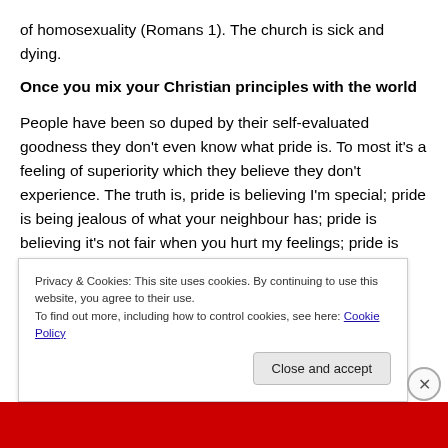of homosexuality (Romans 1). The church is sick and dying.
Once you mix your Christian principles with the world
People have been so duped by their self-evaluated goodness they don't even know what pride is. To most it's a feeling of superiority which they believe they don't experience. The truth is, pride is believing I'm special; pride is being jealous of what your neighbour has; pride is believing it's not fair when you hurt my feelings; pride is
Privacy & Cookies: This site uses cookies. By continuing to use this website, you agree to their use.
To find out more, including how to control cookies, see here: Cookie Policy
Close and accept